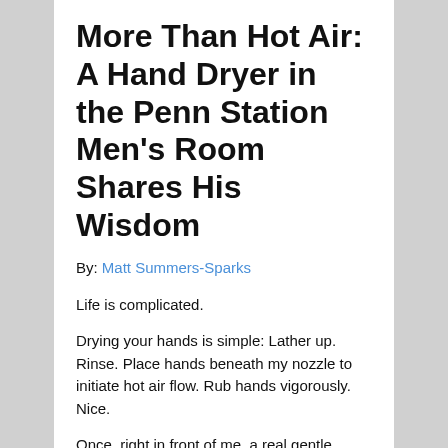More Than Hot Air: A Hand Dryer in the Penn Station Men's Room Shares His Wisdom
By: Matt Summers-Sparks
Life is complicated.
Drying your hands is simple: Lather up. Rinse. Place hands beneath my nozzle to initiate hot air flow. Rub hands vigorously. Nice.
Once, right in front of me, a real gentle fellow, about 15, mistook another guy for his long-lost brother. But he, the latter, ridiculed the gentle fellow right here in the bathroom in front of me, the paper towels and everyone. I hated